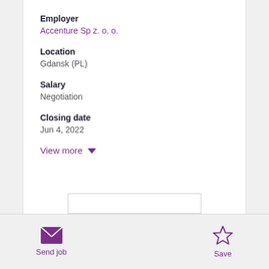Employer
Accenture Sp z. o. o.
Location
Gdansk (PL)
Salary
Negotiation
Closing date
Jun 4, 2022
View more
Send job
Save